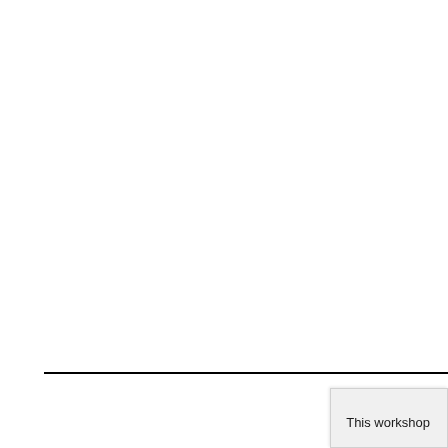[Figure (other): A horizontal black rule dividing the page roughly in the upper half]
This workshop